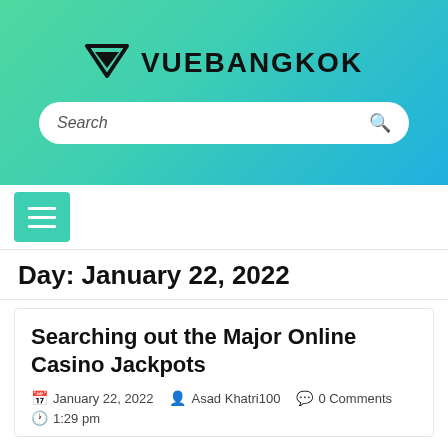[Figure (logo): VueBangkok logo with downward triangle icon and site name text on a green-to-teal gradient banner with search bar]
[Figure (other): Hamburger menu button (three horizontal lines) on teal background in navigation bar]
Day: January 22, 2022
Searching out the Major Online Casino Jackpots
January 22, 2022   Asad Khatri100   0 Comments   1:29 pm